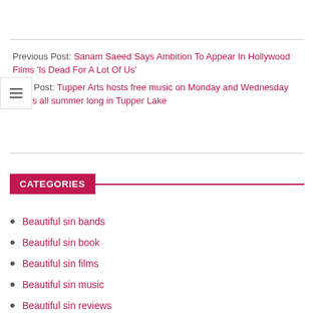Previous Post: Sanam Saeed Says Ambition To Appear In Hollywood Films 'Is Dead For A Lot Of Us'
Next Post: Tupper Arts hosts free music on Monday and Wednesday nights all summer long in Tupper Lake
CATEGORIES
Beautiful sin bands
Beautiful sin book
Beautiful sin films
Beautiful sin music
Beautiful sin reviews